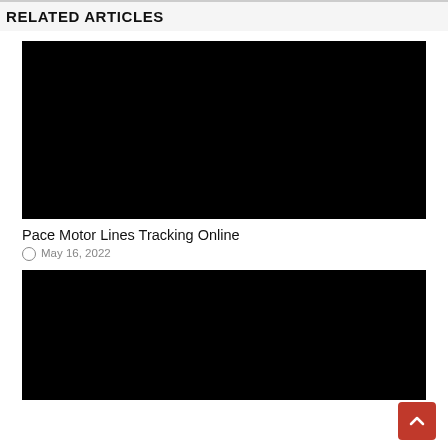RELATED ARTICLES
[Figure (photo): Black image placeholder for related article thumbnail]
Pace Motor Lines Tracking Online
May 16, 2022
[Figure (photo): Black image placeholder for second related article thumbnail]